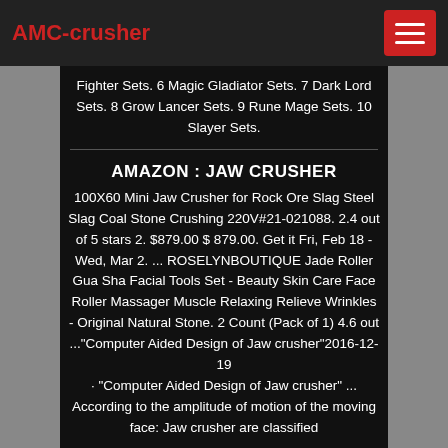AMC-crusher
Fighter Sets. 6 Magic Gladiator Sets. 7 Dark Lord Sets. 8 Grow Lancer Sets. 9 Rune Mage Sets. 10 Slayer Sets.
AMAZON : JAW CRUSHER
100X60 Mini Jaw Crusher for Rock Ore Slag Steel Slag Coal Stone Crushing 220V#21-021088. 2.4 out of 5 stars 2. $879.00 $ 879.00. Get it Fri, Feb 18 - Wed, Mar 2. ... ROSELYNBOUTIQUE Jade Roller Gua Sha Facial Tools Set - Beauty Skin Care Face Roller Massager Muscle Relaxing Relieve Wrinkles - Original Natural Stone. 2 Count (Pack of 1) 4.6 out ..."Computer Aided Design of Jaw crusher"2016-12-19 · "Computer Aided Design of Jaw crusher" ... According to the amplitude of motion of the moving face: Jaw crusher are classified